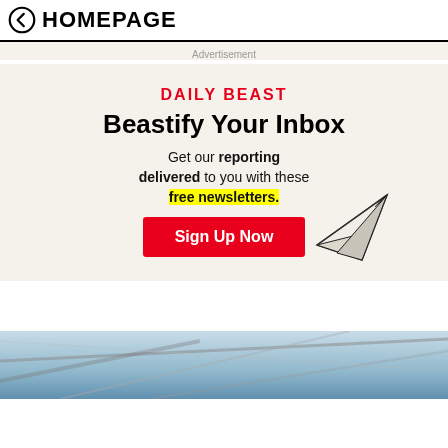← HOMEPAGE
Advertisement
[Figure (infographic): Daily Beast newsletter advertisement. Title: DAILY BEAST. Headline: Beastify Your Inbox. Body text: Get our reporting delivered to you with these free newsletters. (free newsletters highlighted in yellow). Button: Sign Up Now. Decorative paper airplane graphic at bottom right.]
[Figure (photo): Partial photo of architectural ceiling or roof structure with blue sky visible, taken from below at angle.]